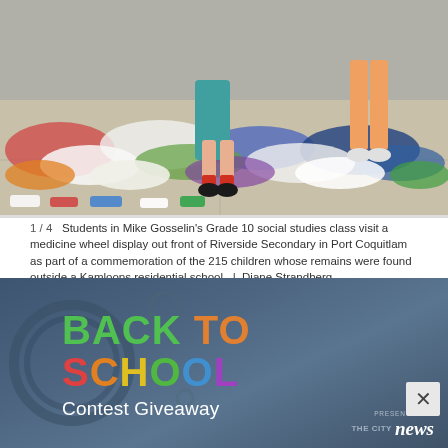[Figure (photo): Photo of students walking among shoes laid out on the ground, part of a medicine wheel display outside Riverside Secondary in Port Coquitlam.]
1 / 4   Students in Mike Gosselin's Grade 10 social studies class visit a medicine wheel display out front of Riverside Secondary in Port Coquitlam as part of a commemoration of the 215 children whose remains were found outside a Kamloops residential school.  |  Diane Strandberg
The lunch break at Riverside Secondary took a solemn turn this afternoon (June 23) as students filed past a medicine wheel tribute to the 215 children whose
[Figure (infographic): Back to School Contest Giveaway advertisement overlay with colorful text on dark blue-grey gradient background. BACK TO in green and orange, SCHOOL in multi-color letters, Contest Giveaway in white. Presented by The City News logo in bottom right.]